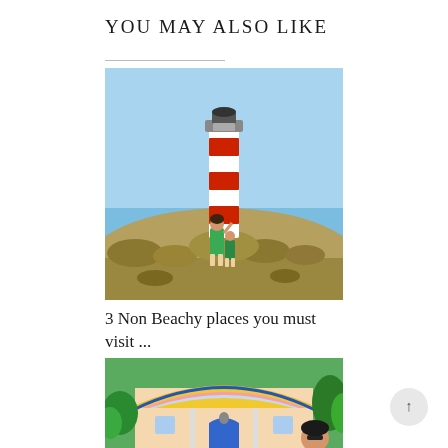YOU MAY ALSO LIKE
[Figure (photo): A woman in a green dress standing on a dry hillside in front of a red and white striped lighthouse against a blue sky.]
3 Non Beachy places you must visit ...
[Figure (photo): A colorful building with striped arches in yellow, pink and blue, surrounded by tropical plants. A person with sunglasses is partially visible.]